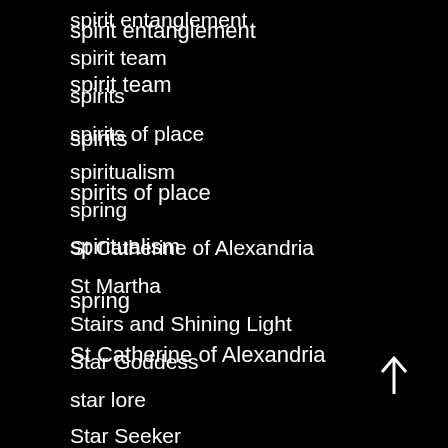spirit entanglement
spirit team
spirits
spirits of place
spiritualism
spring
St Catherine of Alexandria
St Martha
Stairs and Shining Light
Star Goddess
star lore
Star Seeker